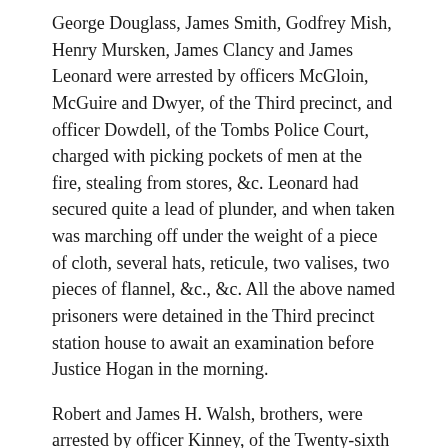George Douglass, James Smith, Godfrey Mish, Henry Mursken, James Clancy and James Leonard were arrested by officers McGloin, McGuire and Dwyer, of the Third precinct, and officer Dowdell, of the Tombs Police Court, charged with picking pockets of men at the fire, stealing from stores, &c. Leonard had secured quite a lead of plunder, and when taken was marching off under the weight of a piece of cloth, several hats, reticule, two valises, two pieces of flannel, &c., &c. All the above named prisoners were detained in the Third precinct station house to await an examination before Justice Hogan in the morning.
Robert and James H. Walsh, brothers, were arrested by officer Kinney, of the Twenty-sixth precinct, charged with relieving John W. Sherman, residing at 196 Fulton avenue, Brooklyn, of a gold watch, as he was looking at the blazing Museum. The watch was recovered, and Captain Brackett detained the prisoners for a hearing.